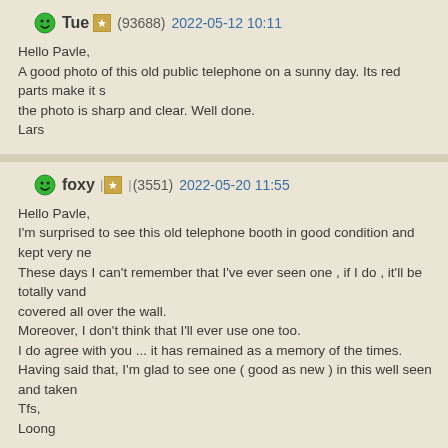Tue (93688) 2022-05-12 10:11
Hello Pavle,
A good photo of this old public telephone on a sunny day. Its red parts make it s...
the photo is sharp and clear. Well done.
Lars
foxy (3551) 2022-05-20 11:55
Hello Pavle,
I'm surprised to see this old telephone booth in good condition and kept very ne...
These days I can't remember that I've ever seen one , if I do , it'll be totally vand...
covered all over the wall.
Moreover, I don't think that I'll ever use one too.
I do agree with you ... it has remained as a memory of the times.
Having said that, I'm glad to see one ( good as new ) in this well seen and taken...
Tfs,
Loong
+
mcmtanyel (69480) 2022-05-27 20:19